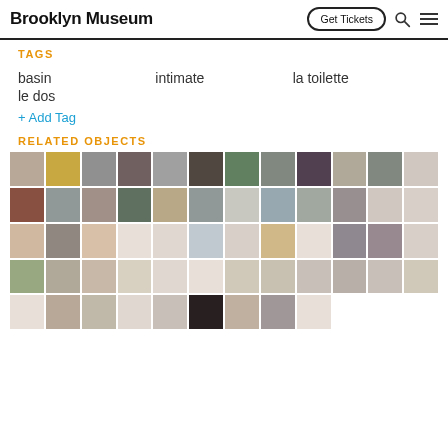Brooklyn Museum | Get Tickets
TAGS
basin
intimate
la toilette
le dos
+ Add Tag
RELATED OBJECTS
[Figure (photo): Grid of thumbnail images of related museum objects including paintings, sculptures, and drawings]